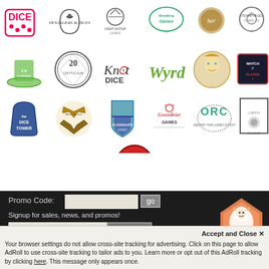[Figure (logo): Grid of board game company logos including Dice, Dexjagers Dice, Deep Water Games, Breaking Games, Hex (cookie?), Steamforged Games, Game Toppers, Criticolor, Knot Dice, Wyrd, illustrated character, Watch It Played, The Dice Tower, Iron & Ale, Floodgate Games, Greenbrier Games, ORC, Cryogenic (studio), Chaos Wars]
Promo Code:
go
Signup for sales, news, and promos!
email address
Subscribe
[Figure (logo): Orange and red pyramid logo with white lion silhouette]
Accept and Close ✕
Your browser settings do not allow cross-site tracking for advertising. Click on this page to allow AdRoll to use cross-site tracking to tailor ads to you. Learn more or opt out of this AdRoll tracking by clicking here. This message only appears once.